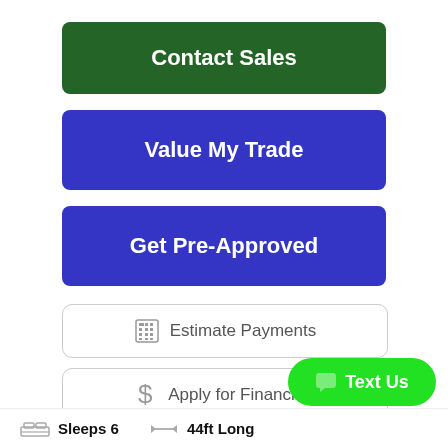Contact Sales
Value My Trade
Get Pre-Approved
Estimate Payments
Apply for Financing
Share
Text Us
Sleeps 6
44ft Long